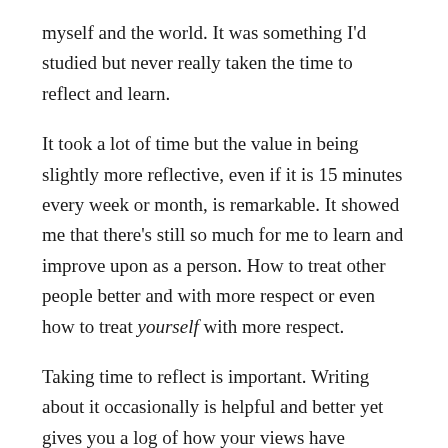myself and the world. It was something I'd studied but never really taken the time to reflect and learn.
It took a lot of time but the value in being slightly more reflective, even if it is 15 minutes every week or month, is remarkable. It showed me that there's still so much for me to learn and improve upon as a person. How to treat other people better and with more respect or even how to treat yourself with more respect.
Taking time to reflect is important. Writing about it occasionally is helpful and better yet gives you a log of how your views have changed over time.
5. It's OK to change your mind.
When I could sit down and write about something